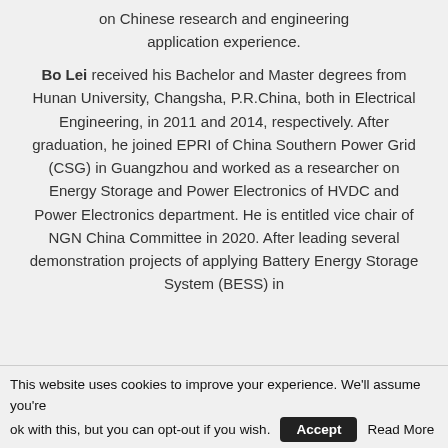on Chinese research and engineering application experience.
Bo Lei received his Bachelor and Master degrees from Hunan University, Changsha, P.R.China, both in Electrical Engineering, in 2011 and 2014, respectively. After graduation, he joined EPRI of China Southern Power Grid (CSG) in Guangzhou and worked as a researcher on Energy Storage and Power Electronics of HVDC and Power Electronics department. He is entitled vice chair of NGN China Committee in 2020. After leading several demonstration projects of applying Battery Energy Storage System (BESS) in
This website uses cookies to improve your experience. We'll assume you're ok with this, but you can opt-out if you wish. Accept Read More